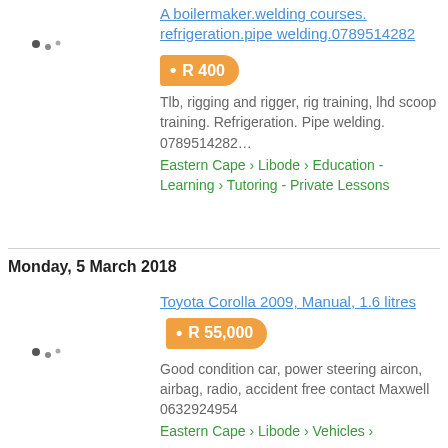A boilermaker.welding courses. refrigeration.pipe welding.0789514282
R 400
Tlb, rigging and rigger, rig training, lhd scoop training. Refrigeration. Pipe welding. 0789514282…
Eastern Cape › Libode › Education - Learning › Tutoring - Private Lessons
Monday, 5 March 2018
Toyota Corolla 2009, Manual, 1.6 litres
R 55,000
Good condition car, power steering aircon, airbag, radio, accident free contact Maxwell 0632924954
Eastern Cape › Libode › Vehicles ›